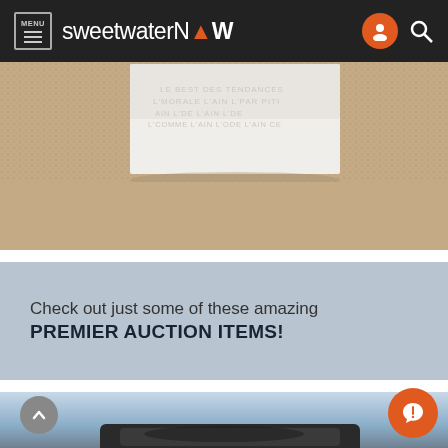MENU sweetwaterNOW
[Figure (photo): White embossed decorative box with French text on a tan/beige carpet background]
Check out just some of these amazing PREMIER AUCTION ITEMS!
[Figure (photo): Partial view of a black metallic object against a blue/grey gradient background]